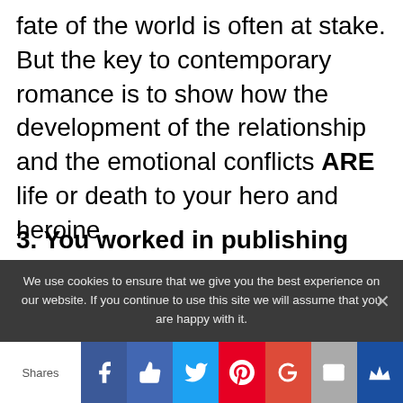fate of the world is often at stake. But the key to contemporary romance is to show how the development of the relationship and the emotional conflicts ARE life or death to your hero and heroine.
3. You worked in publishing before writing your own novels. What's one thing you think writers should know about working on the other side of the contract?
We use cookies to ensure that we give you the best experience on our website. If you continue to use this site we will assume that you are happy with it.